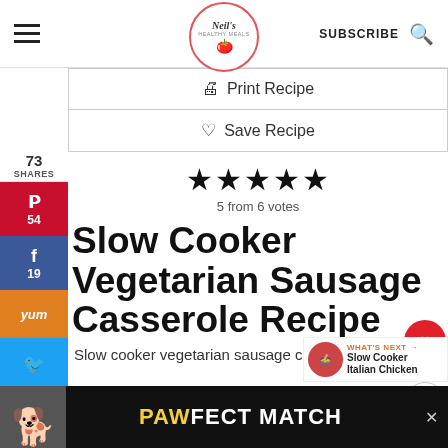Neil's Healthy Meals | SUBSCRIBE
[Figure (logo): Neil's Healthy Meals logo in a red circle with tomato icon]
Print Recipe
Save Recipe
[Figure (other): 5 star rating: 5 from 6 votes]
Slow Cooker Vegetarian Sausage Casserole Recipe
Slow cooker vegetarian sausage casserole.
[Figure (photo): Advertisement banner: PAWFECT MATCH with dog image]
73 SHARES
54 (Pinterest)
19 (Facebook)
WHAT'S NEXT → Slow Cooker Italian Chicken
83